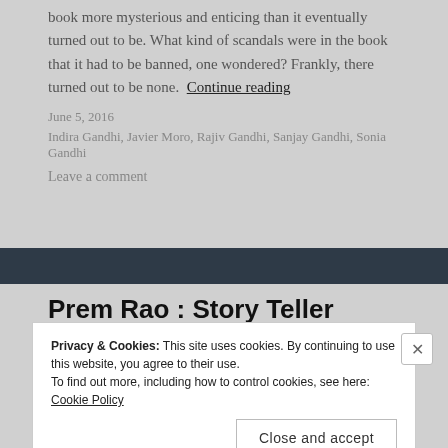book more mysterious and enticing than it eventually turned out to be. What kind of scandals were in the book that it had to be banned, one wondered? Frankly, there turned out to be none.  Continue reading
June 5, 2016
Indira Gandhi, Javier Moro, Rajiv Gandhi, Sanjay Gandhi, Sonia Gandhi
Leave a comment
Prem Rao : Story Teller
Privacy & Cookies: This site uses cookies. By continuing to use this website, you agree to their use.
To find out more, including how to control cookies, see here: Cookie Policy
Close and accept